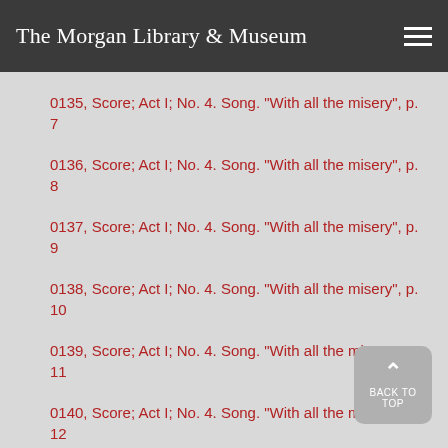The Morgan Library & Museum
0135, Score; Act I; No. 4. Song. "With all the misery", p. 7
0136, Score; Act I; No. 4. Song. "With all the misery", p. 8
0137, Score; Act I; No. 4. Song. "With all the misery", p. 9
0138, Score; Act I; No. 4. Song. "With all the misery", p. 10
0139, Score; Act I; No. 4. Song. "With all the misery", p. 11
0140, Score; Act I; No. 4. Song. "With all the misery", p. 12
0141, Score; Act I; No. 4. Song. "With all the misery", p. 12